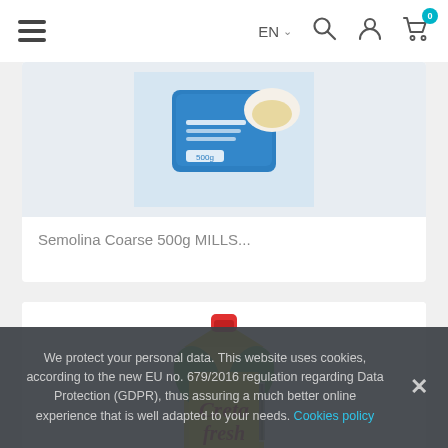EN - navigation bar with hamburger menu, language selector, search, user, and cart icons
[Figure (photo): Blue package of Semolina Coarse 500g MILLS product on light blue/grey background]
Semolina Coarse 500g MILLS...
[Figure (photo): Creta Fresh juice carton with red cap, green and yellow design]
We protect your personal data. This website uses cookies, according to the new EU no. 679/2016 regulation regarding Data Protection (GDPR), thus assuring a much better online experience that is well adapted to your needs. Cookies policy